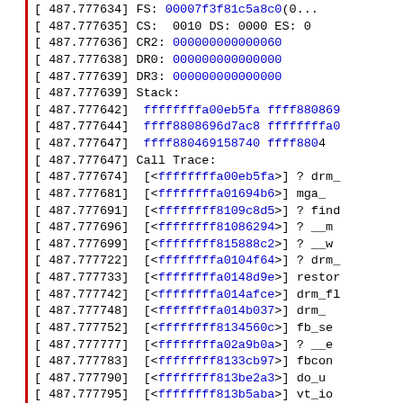[ 487.777634] FS: 00007f3f81c5a8c0(0...
[ 487.777635] CS: 0010 DS: 0000 ES: 0...
[ 487.777636] CR2: 000000000000060...
[ 487.777638] DR0: 000000000000000...
[ 487.777639] DR3: 000000000000000...
[ 487.777639] Stack:
[ 487.777642]  ffffffffa00eb5fa ffff880869...
[ 487.777644]  ffff8808696d7ac8 ffffffffa0...
[ 487.777647]  ffff880469158740 ffff880...
[ 487.777647] Call Trace:
[ 487.777674]  [<ffffffffa00eb5fa>] ? drm_...
[ 487.777681]  [<ffffffffa01694b6>] mga_...
[ 487.777691]  [<ffffffff8109c8d5>] ? find...
[ 487.777696]  [<ffffffff81086294>] ? __m...
[ 487.777699]  [<ffffffff815888c2>] ? __w...
[ 487.777722]  [<ffffffffa0104f64>] ? drm_...
[ 487.777733]  [<ffffffffa0148d9e>] restor...
[ 487.777742]  [<ffffffffa014afce>] drm_fl...
[ 487.777748]  [<ffffffffa014b037>] drm_...
[ 487.777752]  [<ffffffff8134560c>] fb_se...
[ 487.777777]  [<ffffffffa02a9b0a>] ? __e...
[ 487.777783]  [<ffffffff8133cb97>] fbcon...
[ 487.777790]  [<ffffffff813be2a3>] do_u...
[ 487.777795]  [<ffffffff813b5aba>] vt_io...
[ 487.777801]  [<ffffffff813a8fe0>] tty_io...